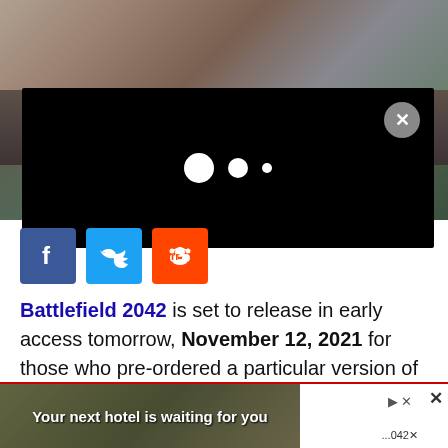[Figure (screenshot): Battlefield 2042 game screenshot showing aerial explosion scene with dark overlay/modal containing loading dots and a close button (X)]
[Figure (infographic): Social media share buttons: Facebook (blue), Twitter (blue), Reddit (orange)]
Battlefield 2042 is set to release in early access tomorrow, November 12, 2021 for those who pre-ordered a particular version of the game, and early reviews for PC even seem to suggest the game will be launching in quite the state. EA has even gone so far as to li...
[Figure (screenshot): Advertisement banner: 'Your next hotel is waiting for you' with hotel image background]